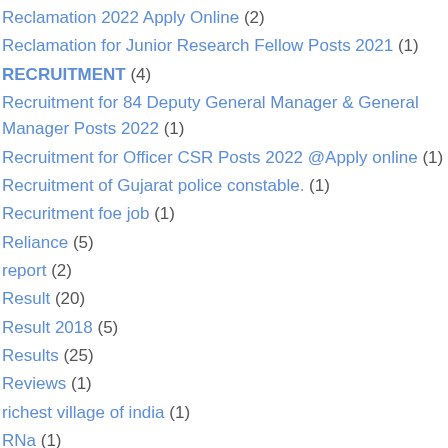Reclamation 2022 Apply Online (2)
Reclamation for Junior Research Fellow Posts 2021 (1)
RECRUITMENT (4)
Recruitment for 84 Deputy General Manager & General Manager Posts 2022 (1)
Recruitment for Officer CSR Posts 2022 @Apply online (1)
Recruitment of Gujarat police constable. (1)
Recuritment foe job (1)
Reliance (5)
report (2)
Result (20)
Result 2018 (5)
Results (25)
Reviews (1)
richest village of india (1)
RNa (1)
Rojagar (1)
ROJGAR SACHARr (1)
Rojgarsachar (2)